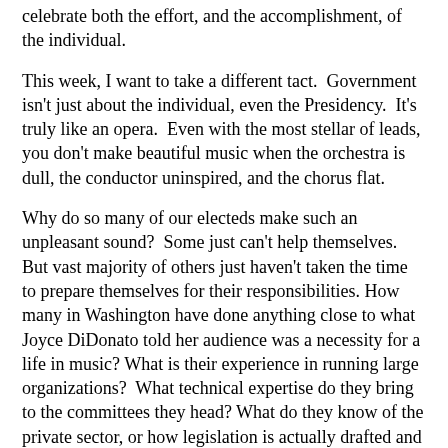celebrate both the effort, and the accomplishment, of the individual.
This week, I want to take a different tact.  Government isn't just about the individual, even the Presidency.  It's truly like an opera.  Even with the most stellar of leads, you don't make beautiful music when the orchestra is dull, the conductor uninspired, and the chorus flat.
Why do so many of our electeds make such an unpleasant sound?  Some just can't help themselves.  But vast majority of others just haven't taken the time to prepare themselves for their responsibilities. How many in Washington have done anything close to what Joyce DiDonato told her audience was a necessity for a life in music? What is their experience in running large organizations?  What technical expertise do they bring to the committees they head? What do they know of the private sector, or how legislation is actually drafted and enacted?  Do they speak any other languages, have they any understanding of the culture in Europe, in Asia, in the Middle East?  What background do they have in military deployment or procurement?   In short, have they